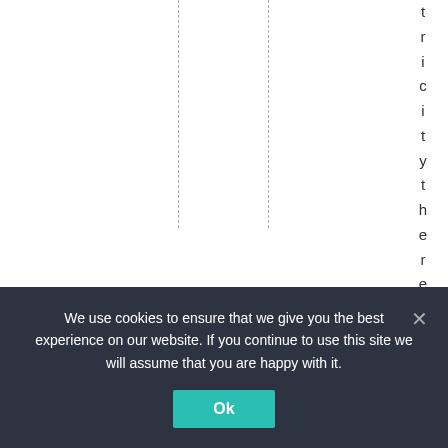tricity there. ...the w
We use cookies to ensure that we give you the best experience on our website. If you continue to use this site we will assume that you are happy with it.